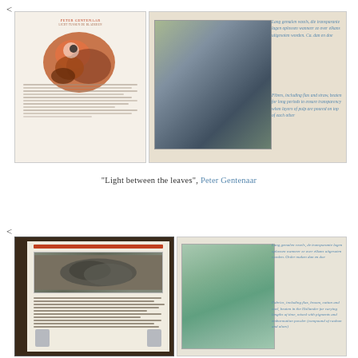<
[Figure (photo): Open book showing 'Peter Gentenaar' title page with orange/red bird illustration and text below]
[Figure (photo): Paper artwork sample with calligraphic text: 'Lang gemalen vezels, die transparante lagen oplossen wanneer ze over elkars uitgesoten worden. Ca. dan en doe' and 'Fibres, including flax and straw, beaten for long periods to ensure transparency when layers of pulp are poured on top of each other']
"Light between the leaves", Peter Gentenaar
<
[Figure (photo): Open book showing Peter Gentenaar content with black and white illustrations and text columns]
[Figure (photo): Green paper artwork sample with calligraphic text: 'Lang gemalen vezels, de transparante lagen oplossen wanneer ze over elkans uitgesoten worden. Order maken dan en doe' and 'Fabrics, including flax, broom, cotton and cocl, beaten in the Hollander for varying lengths of time, mixed with pigments and embormation powder (compound of raubon and aloes)']